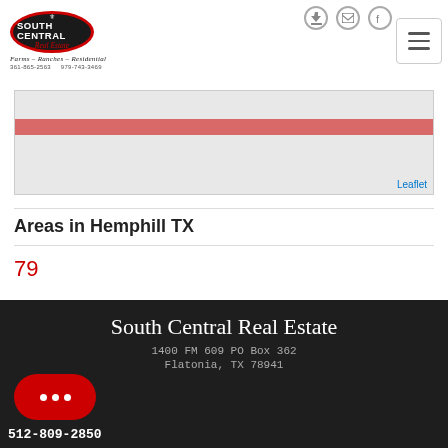[Figure (logo): South Central Real Estate logo — black oval with red border, white text reading SOUTH CENTRAL Real Estate, with tagline Farms - Ranches - Residential and phone numbers 361-865-2563 and 979-743-3469]
[Figure (screenshot): Map area showing a gray Leaflet map with a red horizontal bar across the middle]
Areas in Hemphill TX
79
South Central Real Estate
1400 FM 609 PO Box 362
Flatonia, TX 78941
512-809-2850